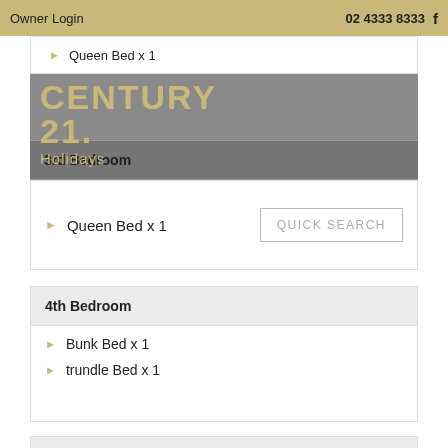Owner Login  02 4333 8333  f
[Figure (logo): CENTURY 21 Holidays logo in gold/tan text]
3rd Bedroom
Queen Bed x 1
Queen Bed x 1
4th Bedroom
Bunk Bed x 1
trundle Bed x 1
5th Bedroom downstairs